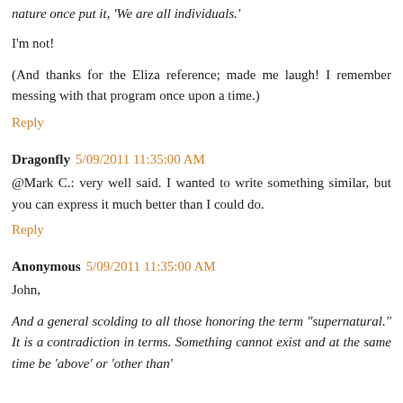nature once put it, 'We are all individuals.'
I'm not!
(And thanks for the Eliza reference; made me laugh! I remember messing with that program once upon a time.)
Reply
Dragonfly 5/09/2011 11:35:00 AM
@Mark C.: very well said. I wanted to write something similar, but you can express it much better than I could do.
Reply
Anonymous 5/09/2011 11:35:00 AM
John,
And a general scolding to all those honoring the term "supernatural." It is a contradiction in terms. Something cannot exist and at the same time be 'above' or 'other than'